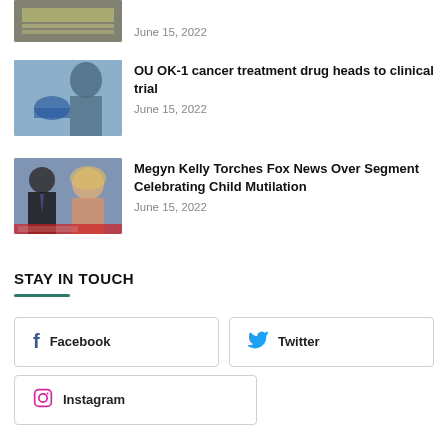June 15, 2022
[Figure (photo): Thumbnail image of a news article (partially visible, top of page)]
[Figure (photo): Thumbnail image showing a medical/clinical scene with blue-gloved hands]
OU OK-1 cancer treatment drug heads to clinical trial
June 15, 2022
[Figure (photo): Thumbnail image showing two TV news anchors (man in suit and woman)]
Megyn Kelly Torches Fox News Over Segment Celebrating Child Mutilation
June 15, 2022
STAY IN TOUCH
Facebook
Twitter
Instagram